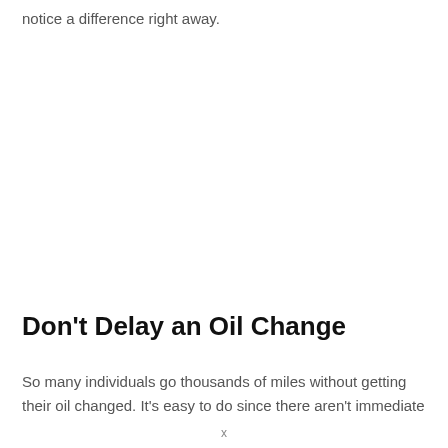notice a difference right away.
Don't Delay an Oil Change
So many individuals go thousands of miles without getting their oil changed. It's easy to do since there aren't immediate
x